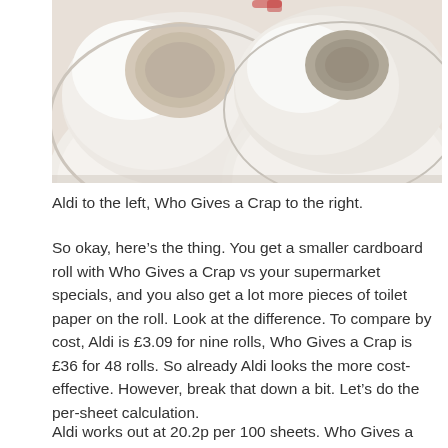[Figure (photo): Two toilet paper rolls side by side, viewed from above. The left roll (Aldi) is larger with a bigger cardboard tube. The right roll (Who Gives a Crap) is slightly smaller with a smaller cardboard tube. Both rolls are white.]
Aldi to the left, Who Gives a Crap to the right.
So okay, here’s the thing. You get a smaller cardboard roll with Who Gives a Crap vs your supermarket specials, and you also get a lot more pieces of toilet paper on the roll. Look at the difference. To compare by cost, Aldi is £3.09 for nine rolls, Who Gives a Crap is £36 for 48 rolls. So already Aldi looks the more cost-effective. However, break that down a bit. Let’s do the per-sheet calculation.
Aldi works out at 20.2p per 100 sheets. Who Gives a